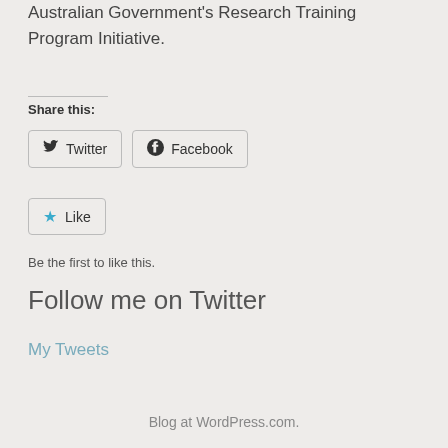Australian Government's Research Training Program Initiative.
Share this:
Twitter
Facebook
Like
Be the first to like this.
Follow me on Twitter
My Tweets
Blog at WordPress.com.